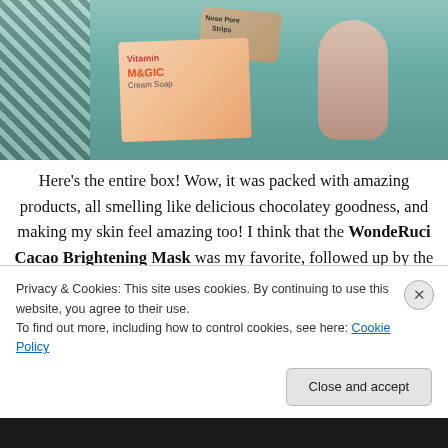[Figure (photo): Photo of a box of beauty/skincare products including Nose Pore Strips, Vitamin Magic Cream Soap, WondeRuci Cacao Brightening Mask packaging, and Etude House Milk Talk bottle, surrounded by teal tissue paper.]
Here's the entire box! Wow, it was packed with amazing products, all smelling like delicious chocolatey goodness, and making my skin feel amazing too! I think that the WondeRuci Cacao Brightening Mask was my favorite, followed up by the Etude House Milk Talk,
Privacy & Cookies: This site uses cookies. By continuing to use this website, you agree to their use.
To find out more, including how to control cookies, see here: Cookie Policy